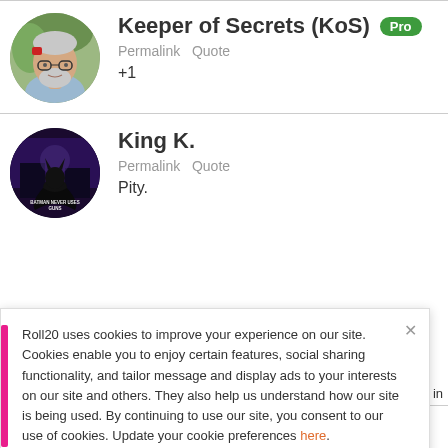[Figure (photo): Circular avatar photo of a man with glasses holding something red to his head, outdoors background]
Keeper of Secrets (KoS) Pro
Permalink   Quote
+1
[Figure (photo): Circular avatar with Batman movie poster image, black background with text 'BATMAN NEVER USES GUNS']
King K.
Permalink   Quote
Pity.
Roll20 uses cookies to improve your experience on our site. Cookies enable you to enjoy certain features, social sharing functionality, and tailor message and display ads to your interests on our site and others. They also help us understand how our site is being used. By continuing to use our site, you consent to our use of cookies. Update your cookie preferences here.
Jiboux Pro Sheet Author Compendi…